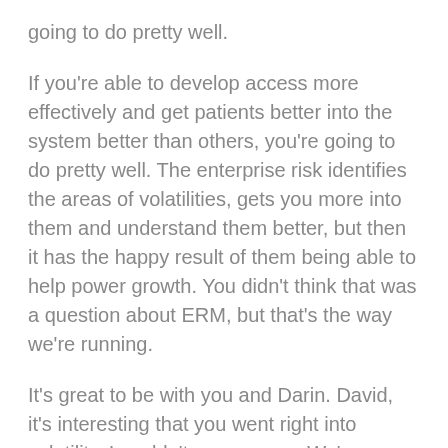going to do pretty well.
If you're able to develop access more effectively and get patients better into the system better than others, you're going to do pretty well. The enterprise risk identifies the areas of volatilities, gets you more into them and understand them better, but then it has the happy result of them being able to help power growth. You didn't think that was a question about ERM, but that's the way we're running.
It's great to be with you and Darin. David, it's interesting that you went right into volatility. I couldn't agree more. We're on a Baldrige podcast. We had this conversation at the Baldrige Quest Conference in DC, where they talked about fundamentally, you have to have a leadership and an operating system essentially to help reduce the